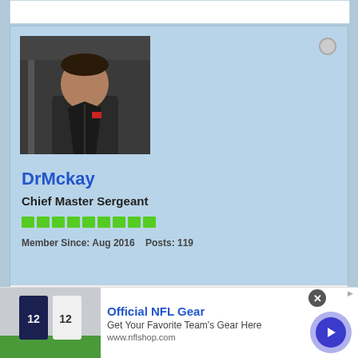[Figure (photo): Profile photo of a person in a dark leather jacket standing in a corridor]
DrMckay
Chief Master Sergeant
Member Since: Aug 2016   Posts: 119
13 May 2022, 08:27 AM   #30
Just saw these 2 tweets in a thread on Twitter by Brad Wright:
https://twitter.com/bradtravelers/st...CsldSuqKUqAAAA
https://twitter.com/bradtravelers/st...Cp3e-ztKUqAAAA
[Figure (photo): Advertisement banner for Official NFL Gear showing football jerseys/shirts]
Official NFL Gear
Get Your Favorite Team's Gear Here
www.nflshop.com